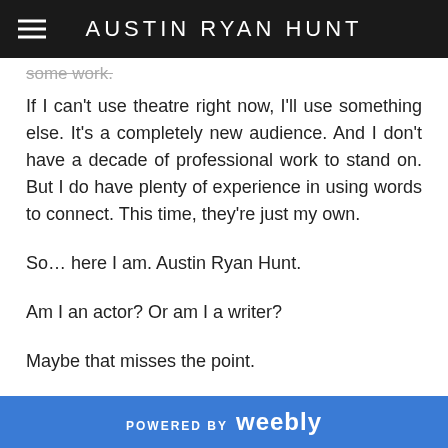AUSTIN RYAN HUNT
some work.
If I can't use theatre right now, I'll use something else. It's a completely new audience. And I don't have a decade of professional work to stand on. But I do have plenty of experience in using words to connect. This time, they're just my own.
So… here I am. Austin Ryan Hunt.
Am I an actor? Or am I a writer?
Maybe that misses the point.
I just see myself as someone who wants to help you understand the world a little better. And maybe help the world understand you in return.
POWERED BY weebly